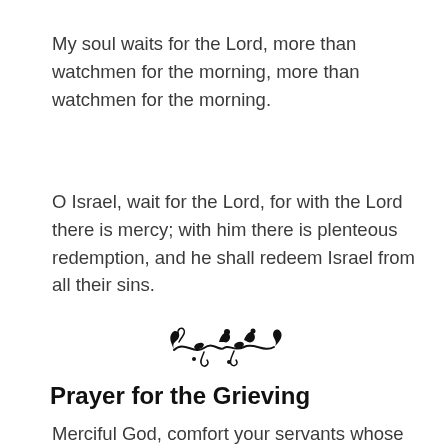My soul waits for the Lord, more than watchmen for the morning, more than watchmen for the morning.
O Israel, wait for the Lord, for with the Lord there is mercy; with him there is plenteous redemption, and he shall redeem Israel from all their sins.
[Figure (illustration): Decorative floral/vine ornamental divider]
Prayer for the Grieving
Merciful God, comfort your servants whose hearts grieve, and grant that they may so